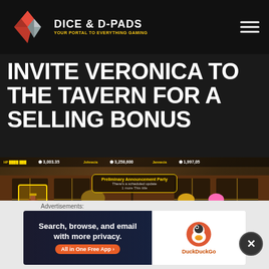Dice & D-Pads — Your Portal to Everything Gaming
(gold, 3-star). Even their ultimate will be available for you to play, it's also a great way to fill the time, if you just want to ... skill lot.
INVITE VERONICA TO THE TAVERN FOR A SELLING BONUS
[Figure (screenshot): Game screenshot showing a tavern scene with characters and a skill card popup reading 'Sales Guru of Lioness - Selling price increased by 20% when selling to shops in any chapter. Time Remaining: 9'. A speech bubble reads 'Is this where Elizabeth is?' Characters visible including a person in white shirt and anime-style characters.]
Advertisements:
[Figure (other): DuckDuckGo advertisement banner: 'Search, browse, and email with more privacy. All in One Free App' with DuckDuckGo duck logo.]